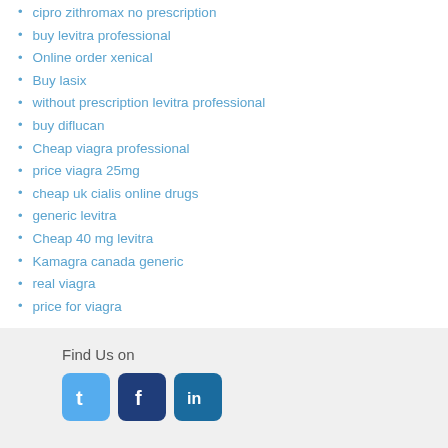cipro zithromax no prescription
buy levitra professional
Online order xenical
Buy lasix
without prescription levitra professional
buy diflucan
Cheap viagra professional
price viagra 25mg
cheap uk cialis online drugs
generic levitra
Cheap 40 mg levitra
Kamagra canada generic
real viagra
price for viagra
.
Find Us on [Twitter] [Facebook] [LinkedIn]